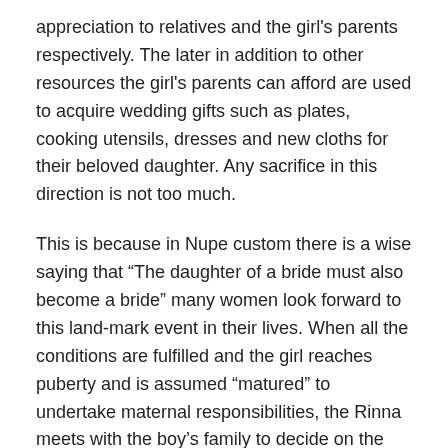appreciation to relatives and the girl's parents respectively. The later in addition to other resources the girl's parents can afford are used to acquire wedding gifts such as plates, cooking utensils, dresses and new cloths for their beloved daughter. Any sacrifice in this direction is not too much.
This is because in Nupe custom there is a wise saying that “The daughter of a bride must also become a bride” many women look forward to this land-mark event in their lives. When all the conditions are fulfilled and the girl reaches puberty and is assumed “matured” to undertake maternal responsibilities, the Rinna meets with the boy’s family to decide on the month of the year they want the marriage ceremony. He then communicates this to the girl’s family who will give approval after due consultations with other family members. Finally, a specific date is fixed in the approved month and the wedding proper is arranged. On the night